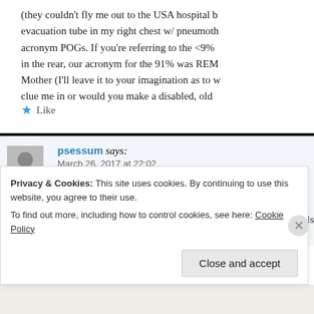(they couldn't fly me out to the USA hospital b... evacuation tube in my right chest w/ pneumoth... acronym POGs. If you're referring to the <9%... in the rear, our acronym for the 91% was REM... Mother (I'll leave it to your imagination as to w... clue me in or would you make a disabled, old...
★ Like
psessum says:
March 26, 2017 at 22:02

No, I am not going to make you lo... ls...
Privacy & Cookies: This site uses cookies. By continuing to use this website, you agree to their use.
To find out more, including how to control cookies, see here: Cookie Policy
Close and accept